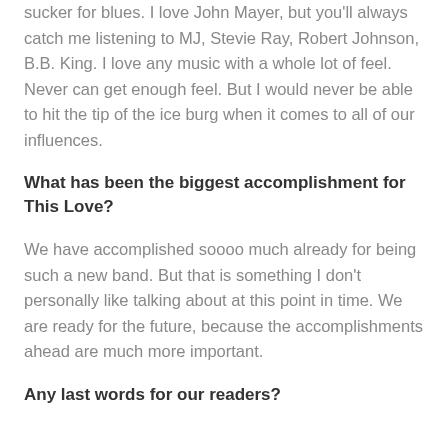sucker for blues. I love John Mayer, but you'll always catch me listening to MJ, Stevie Ray, Robert Johnson, B.B. King. I love any music with a whole lot of feel. Never can get enough feel. But I would never be able to hit the tip of the ice burg when it comes to all of our influences.
What has been the biggest accomplishment for This Love?
We have accomplished soooo much already for being such a new band. But that is something I don't personally like talking about at this point in time. We are ready for the future, because the accomplishments ahead are much more important.
Any last words for our readers?